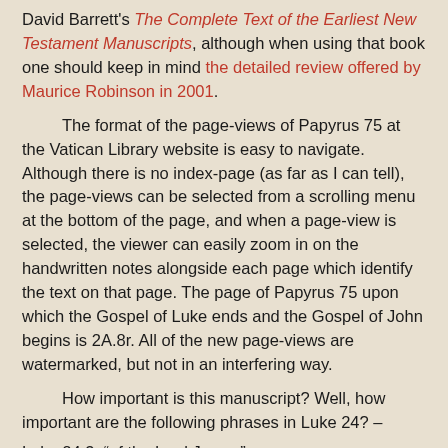David Barrett's The Complete Text of the Earliest New Testament Manuscripts, although when using that book one should keep in mind the detailed review offered by Maurice Robinson in 2001.
The format of the page-views of Papyrus 75 at the Vatican Library website is easy to navigate. Although there is no index-page (as far as I can tell), the page-views can be selected from a scrolling menu at the bottom of the page, and when a page-view is selected, the viewer can easily zoom in on the handwritten notes alongside each page which identify the text on that page. The page of Papyrus 75 upon which the Gospel of Luke ends and the Gospel of John begins is 2A.8r. All of the new page-views are watermarked, but not in an interfering way.
How important is this manuscript? Well, how important are the following phrases in Luke 24? –
Luke 24:3: “of the Lord Jesus.”
Luke 24:5: “He is not here, but has risen.”
Luke 24:12 – the entire verse.